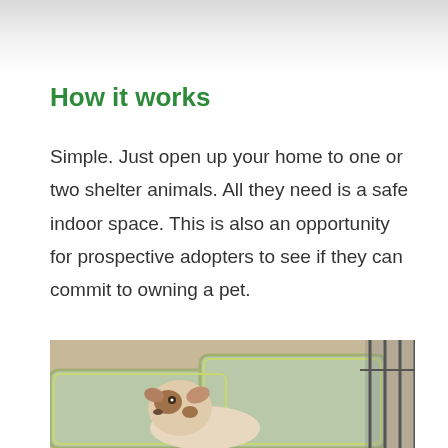How it works
Simple. Just open up your home to one or two shelter animals. All they need is a safe indoor space. This is also an opportunity for prospective adopters to see if they can commit to owning a pet.
[Figure (photo): A small dog resting between light green cushions/pillows, with a cage visible in the background. The dog appears to be a small breed with brown and white markings.]